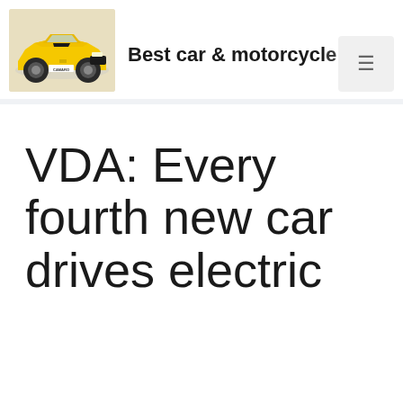[Figure (logo): Yellow Chevrolet Camaro car image used as site logo]
Best car & motorcycle
VDA: Every fourth new car drives electric